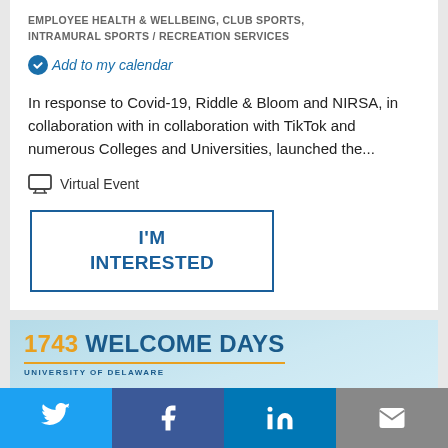EMPLOYEE HEALTH & WELLBEING,  CLUB SPORTS,  INTRAMURAL SPORTS /  RECREATION SERVICES
Add to my calendar
In response to Covid-19, Riddle & Bloom and NIRSA, in collaboration with in collaboration with TikTok and numerous Colleges and Universities, launched the...
Virtual Event
I'M INTERESTED
[Figure (illustration): 1743 Welcome Days University of Delaware banner with teal/blue background and stacked books]
[Figure (infographic): Social sharing bar with Twitter, Facebook, LinkedIn, and email icons]